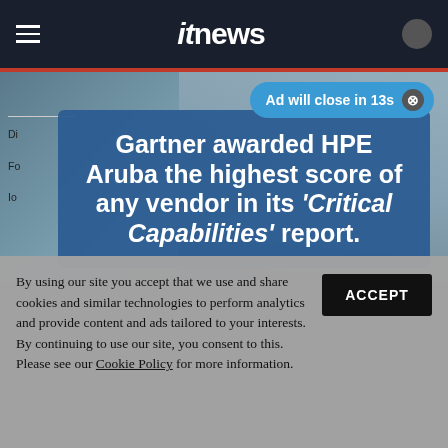itnews
[Figure (screenshot): Website screenshot of itnews article page with ad overlay reading 'Gartner awarded HPE Aruba the highest score of any vendor in its Critical Capabilities report', an ad close button 'Ad will close in 13s', and a cookie consent bar at the bottom.]
Ad will close in 13s
Gartner awarded HPE Aruba the highest score of any vendor in its 'Critical Capabilities' report.
By using our site you accept that we use and share cookies and similar technologies to perform analytics and provide content and ads tailored to your interests. By continuing to use our site, you consent to this. Please see our Cookie Policy for more information.